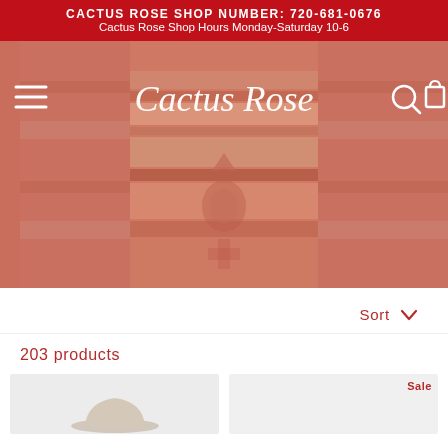CACTUS ROSE SHOP NUMBER: 720-681-0676
Cactus Rose Shop Hours Monday-Saturday 10-6
[Figure (screenshot): Cactus Rose website hero image showing colorful southwestern textile/blanket in orange-red tones with navigation bar containing hamburger menu, Cactus Rose script logo, search and cart icons]
Sort
203 products
[Figure (photo): Partial product image showing a hat, with 'Sale' badge in upper right corner]